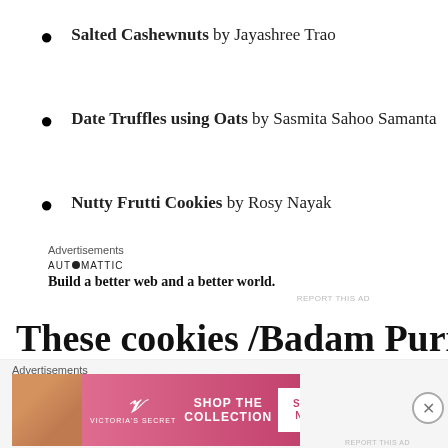Salted Cashewnuts by Jayashree Trao
Date Truffles using Oats by Sasmita Sahoo Samanta
Nutty Frutti Cookies by Rosy Nayak
Advertisements
[Figure (other): Automattic advertisement: 'Build a better web and a better world.']
REPORT THIS AD
These cookies /Badam Puri can
Advertisements
[Figure (other): Victoria's Secret advertisement: SHOP THE COLLECTION with SHOP NOW button]